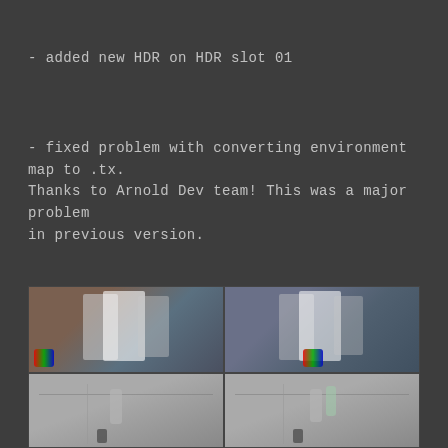- added new HDR on HDR slot 01
- fixed problem with converting environment map to .tx. Thanks to Arnold Dev team! This was a major problem in previous version.
[Figure (photo): Two side-by-side comparison renders: top row shows reflective panels with blurry colorful studio background (HDR lighting comparison), bottom row shows grey room interior renders with cylindrical objects and string lines.]